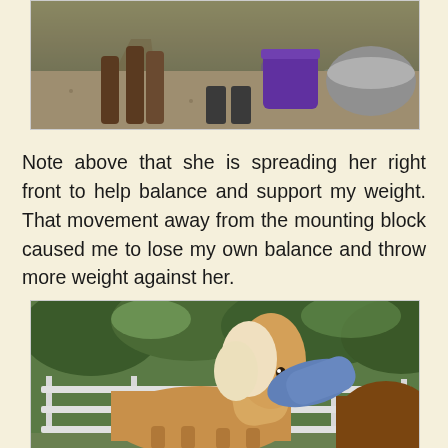[Figure (photo): Top cropped photo showing a horse's legs on gravel ground with a purple bucket and gray tub in background, with a person partially visible]
Note above that she is spreading her right front to help balance and support my weight. That movement away from the mounting block caused me to lose my own balance and throw more weight against her.
[Figure (photo): A palomino horse with white mane in a fenced paddock, a rider draped over the horse's back/neck area, with green trees in background and another brown horse visible at right]